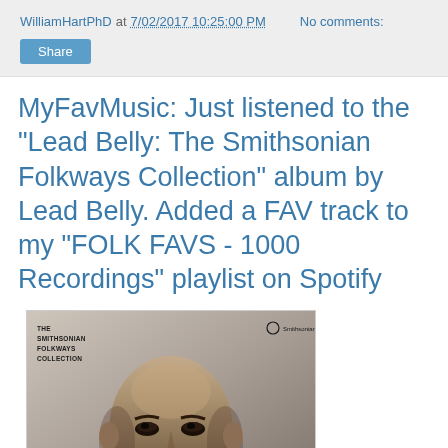WilliamHartPhD at 7/02/2017 10:25:00 PM   No comments:
Share
MyFavMusic: Just listened to the "Lead Belly: The Smithsonian Folkways Collection" album by Lead Belly. Added a FAV track to my "FOLK FAVS - 1000 Recordings" playlist on Spotify
[Figure (photo): Album cover of 'The Smithsonian Folkways Collection' featuring a close-up black and white portrait of Lead Belly. Text in top-left reads 'THE SMITHSONIAN FOLKWAYS COLLECTION'. Smithsonian Folkways logo in top-right.]